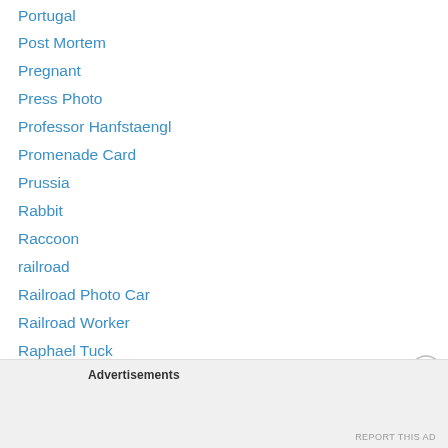Portugal
Post Mortem
Pregnant
Press Photo
Professor Hanfstaengl
Promenade Card
Prussia
Rabbit
Raccoon
railroad
Railroad Photo Car
Railroad Worker
Raphael Tuck
Rapid Photo
Real Photo Postcard
Real Photo Postcard (RPPC)
Regel & Krug
Advertisements
REPORT THIS AD